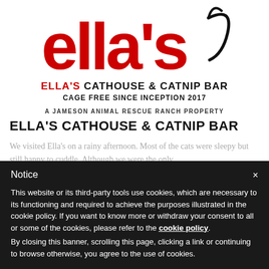[Figure (logo): Ella's Cathouse and Catnip Bar logo in red stylized text with a cat tail curl graphic in black]
ELLA'S CATHOUSE & CATNIP BAR
CAGE FREE SINCE INCEPTION 2017
A JAMESON ANIMAL RESCUE RANCH PROPERTY
ELLA'S CATHOUSE & CATNIP BAR
We visited Ella's on a rainy afternoon. Most of the cats were sleepy but still happy to cuddle. Although we were the only
Notice
This website or its third-party tools use cookies, which are necessary to its functioning and required to achieve the purposes illustrated in the cookie policy. If you want to know more or withdraw your consent to all or some of the cookies, please refer to the cookie policy.
By closing this banner, scrolling this page, clicking a link or continuing to browse otherwise, you agree to the use of cookies.